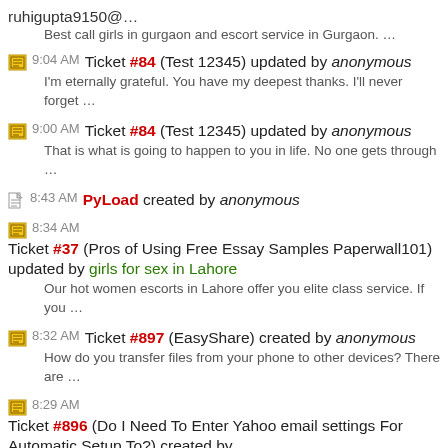ruhigupta9150@…
Best call girls in gurgaon and escort service in Gurgaon. …
9:04 AM Ticket #84 (Test 12345) updated by anonymous
I'm eternally grateful. You have my deepest thanks. I'll never forget …
9:00 AM Ticket #84 (Test 12345) updated by anonymous
That is what is going to happen to you in life. No one gets through …
8:43 AM PyLoad created by anonymous
8:34 AM Ticket #37 (Pros of Using Free Essay Samples Paperwall101) updated by girls for sex in Lahore
Our hot women escorts in Lahore offer you elite class service. If you …
8:32 AM Ticket #897 (EasyShare) created by anonymous
How do you transfer files from your phone to other devices? There are …
8:29 AM Ticket #896 (Do I Need To Enter Yahoo email settings For Automatic Setup To?) created by…